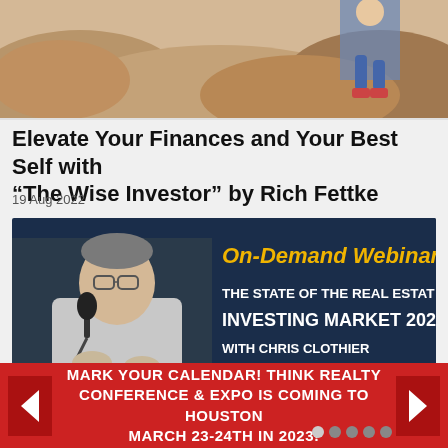[Figure (photo): Outdoor nature photo showing rocks and a person, partially cropped at top of page]
Elevate Your Finances and Your Best Self with “The Wise Investor” by Rich Fettke
19 Aug 2022
[Figure (photo): On-Demand Webinar banner featuring a man speaking into a microphone. Text reads: On-Demand Webinar, THE STATE OF THE REAL ESTATE INVESTING MARKET 202[2], WITH CHRIS CLOTHIER]
MARK YOUR CALENDAR! THINK REALTY CONFERENCE & EXPO IS COMING TO HOUSTON MARCH 23-24TH IN 2023!